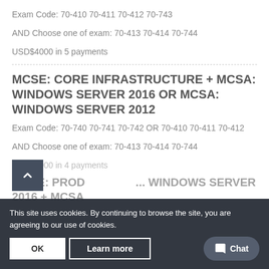Exam Code: 70-410 70-411 70-412 70-743
AND Choose one of exam: 70-413 70-414 70-744
USD$4000 in 5 payments
MCSE: CORE INFRASTRUCTURE + MCSA: WINDOWS SERVER 2016 OR MCSA: WINDOWS SERVER 2012
Exam Code: 70-740 70-741 70-742 OR 70-410 70-411 70-412
AND Choose one of exam: 70-413 70-414 70-744
USD$4000 in 4 payments
MCSE: PRODUCTIVITY + MCSA: WINDOWS SERVER 2016 + MCSA
This site uses cookies. By continuing to browse the site, you are agreeing to our use of cookies.